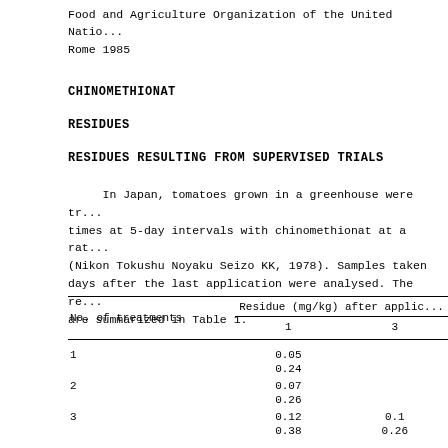Food and Agriculture Organization of the United Nations
Rome 1985
CHINOMETHIONAT
RESIDUES
RESIDUES RESULTING FROM SUPERVISED TRIALS
In Japan, tomatoes grown in a greenhouse were treated 3 times at 5-day intervals with chinomethionat at a rate of ... (Nikon Tokushu Noyaku Seizo KK, 1978). Samples taken ... days after the last application were analysed. The results are summarized in Table 1.
| No. of treatments | Residue (mg/kg) after applic... 1 | Residue (mg/kg) after applic... 3 |
| --- | --- | --- |
| 1 | 0.05 |  |
|  | 0.24 |  |
| 2 | 0.07 |  |
|  | 0.26 |  |
| 3 | 0.12 | 0.1 |
|  | 0.38 | 0.26 |